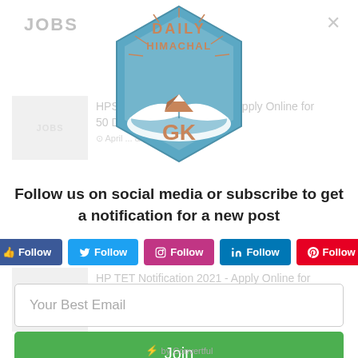JOBS
[Figure (logo): Daily Himachal GK logo - hexagonal badge with mountain and book imagery, orange and teal colors]
HPSEB Recruitment 2021 - Apply Online for 50 Driver Posts
April ... & pankaj
HP TET Notification 2021 - Apply Online for Teachers Eligibility Test
April 26, 2021  & pankaj
Follow us on social media or subscribe to get a notification for a new post
HP Industries Department Recruitment 2020
👍 Follow | Follow | Follow | Follow | Follow
Your Best Email
IIT MANDI Recruitment for Associate Posts
July 7, 2020  & Rahul Dhatwalia
Join
⚡ by Convertful